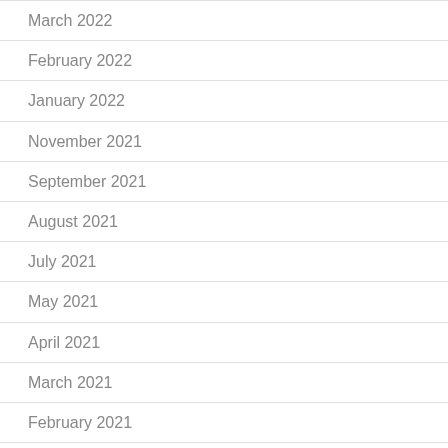March 2022
February 2022
January 2022
November 2021
September 2021
August 2021
July 2021
May 2021
April 2021
March 2021
February 2021
January 2021